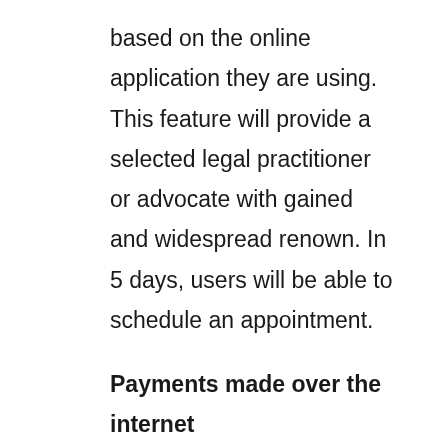based on the online application they are using. This feature will provide a selected legal practitioner or advocate with gained and widespread renown. In 5 days, users will be able to schedule an appointment.
Payments made over the internet
This feature will allow customers to pay for various services provided by the website using MobiLaw offers. It will allow consumers to pay their rates online in one place.